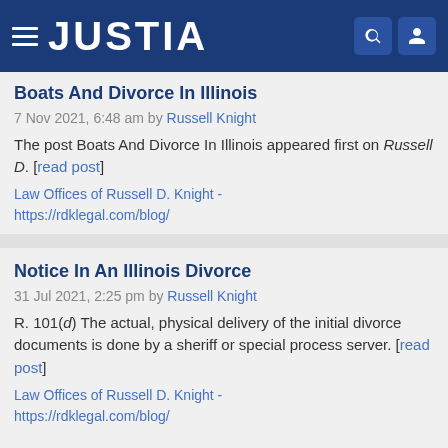JUSTIA
Boats And Divorce In Illinois
7 Nov 2021, 6:48 am by Russell Knight
The post Boats And Divorce In Illinois appeared first on Russell D. [read post]
Law Offices of Russell D. Knight - https://rdklegal.com/blog/
Notice In An Illinois Divorce
31 Jul 2021, 2:25 pm by Russell Knight
R. 101(d) The actual, physical delivery of the initial divorce documents is done by a sheriff or special process server. [read post]
Law Offices of Russell D. Knight - https://rdklegal.com/blog/